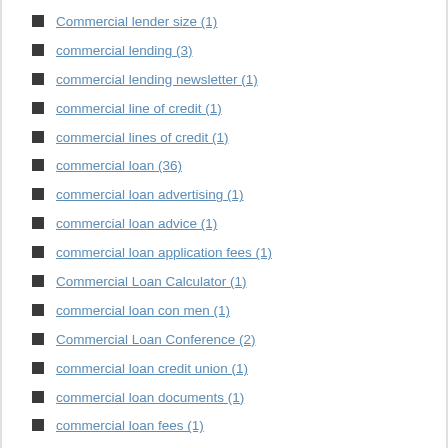Commercial lender size (1)
commercial lending (3)
commercial lending newsletter (1)
commercial line of credit (1)
commercial lines of credit (1)
commercial loan (36)
commercial loan advertising (1)
commercial loan advice (1)
commercial loan application fees (1)
Commercial Loan Calculator (1)
commercial loan con men (1)
Commercial Loan Conference (2)
commercial loan credit union (1)
commercial loan documents (1)
commercial loan fees (1)
commercial loan fraud (2)